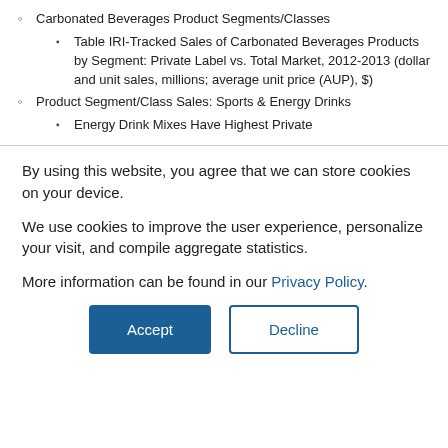Carbonated Beverages Product Segments/Classes
Table IRI-Tracked Sales of Carbonated Beverages Products by Segment: Private Label vs. Total Market, 2012-2013 (dollar and unit sales, millions; average unit price (AUP), $)
Product Segment/Class Sales: Sports & Energy Drinks
Energy Drink Mixes Have Highest Private
By using this website, you agree that we can store cookies on your device.
We use cookies to improve the user experience, personalize your visit, and compile aggregate statistics.
More information can be found in our Privacy Policy.